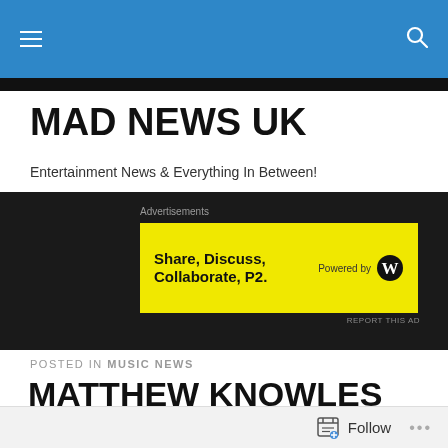MAD NEWS UK — site header navigation
MAD NEWS UK
Entertainment News & Everything In Between!
[Figure (screenshot): Yellow advertisement banner: Share, Discuss, Collaborate, P2. Powered by WordPress logo. Dark background with Advertisements label and REPORT THIS AD text.]
POSTED IN MUSIC NEWS
MATTHEW KNOWLES TO HOST AUDITIONS FOR NEW FEMALE POP GROUP
Follow